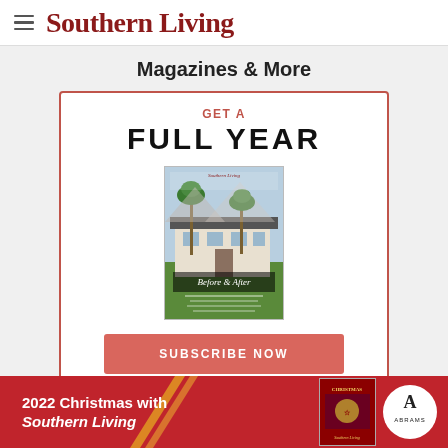Southern Living
Magazines & More
[Figure (infographic): Southern Living magazine subscription promotional card with 'GET A FULL YEAR' headline, magazine cover image showing a house with palm trees and 'Before & After' text, and a coral 'SUBSCRIBE NOW' button]
[Figure (infographic): Red advertisement banner for '2022 Christmas with Southern Living' by Abrams, featuring a book cover image and the Abrams publisher logo]